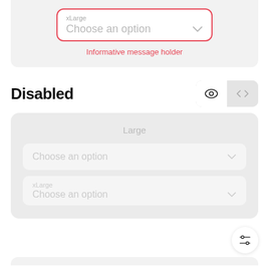[Figure (screenshot): Dropdown component with red border showing 'xLarge' label and 'Choose an option' placeholder with chevron]
Informative message holder
Disabled
[Figure (screenshot): UI toggle buttons: eye icon (active/white) and code icon (inactive/gray)]
[Figure (screenshot): Disabled state dropdown components: Large label, two disabled dropdowns - one without sublabel, one with xLarge sublabel]
[Figure (screenshot): Settings/filter icon button at bottom right]